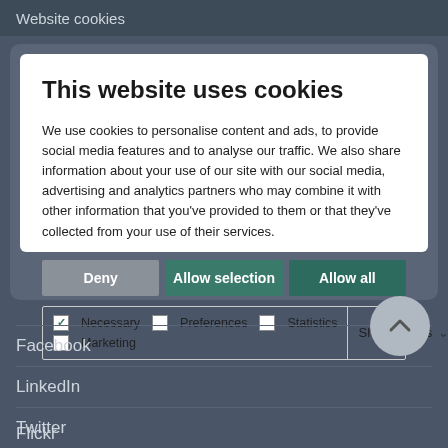Website cookies
This website uses cookies
We use cookies to personalise content and ads, to provide social media features and to analyse our traffic. We also share information about your use of our site with our social media, advertising and analytics partners who may combine it with other information that you've provided to them or that they've collected from your use of their services.
Deny | Allow selection | Allow all
Necessary | Preferences | Statistics | Marketing | Show details
Facebook
LinkedIn
Twitter
Flickr